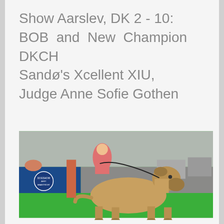Show Aarslev, DK 2 - 10: BOB and New Champion DKCH Sandø's Xcellent XIU, Judge Anne Sofie Gothen
[Figure (photo): A large fawn Mastiff dog standing in show stance on a green carpet at an indoor dog show. A blue 'Dogshow Maastricht' banner is visible in the background, along with spectators and show equipment.]